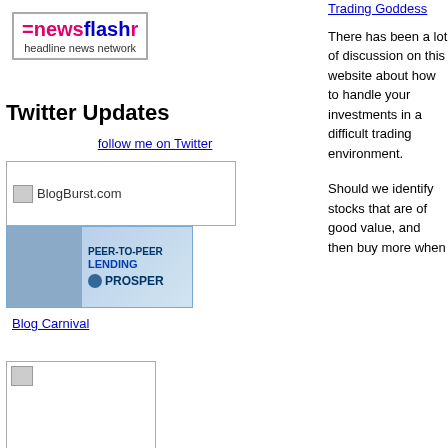[Figure (logo): eNewsFlash headline news network logo with pink and blue text in a bordered box]
[Figure (other): Trading Goddess link at top right]
Twitter Updates
follow me on Twitter
[Figure (other): BlogBurst.com image with small icon]
[Figure (other): Peer-to-Peer Lending Prosper banner with woman photo]
Blog Carnival
[Figure (other): Blog directory image box with small broken image icon]
Blog Directory
[Figure (other): Soccer ball image at bottom left]
There has been a lot of discussion on this website about how to handle your investments in a difficult trading environment.
Should we identify stocks that are of good value, and then buy more when